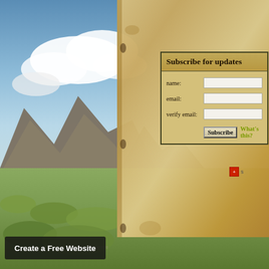[Figure (photo): Outdoor landscape photograph showing mountains with rocky peaks, blue sky with white clouds, and green scrub vegetation in the foreground. An old parchment/book panel overlays the right side.]
Subscribe for updates
name:
email:
verify email:
Subscribe  What's this?
©2007 WFRR
Create a Free Website